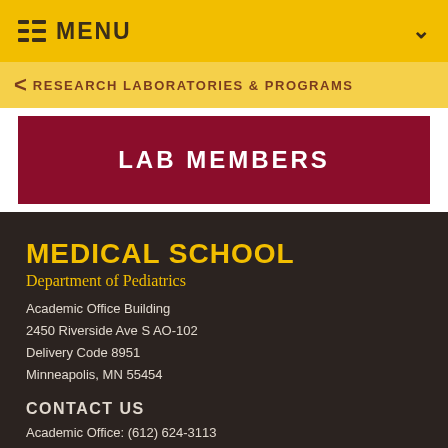MENU
RESEARCH LABORATORIES & PROGRAMS
LAB MEMBERS
MEDICAL SCHOOL
Department of Pediatrics
Academic Office Building
2450 Riverside Ave S AO-102
Delivery Code 8951
Minneapolis, MN 55454
CONTACT US
Academic Office: (612) 624-3113
Fax: (612) 626-6601
Email: [truncated]